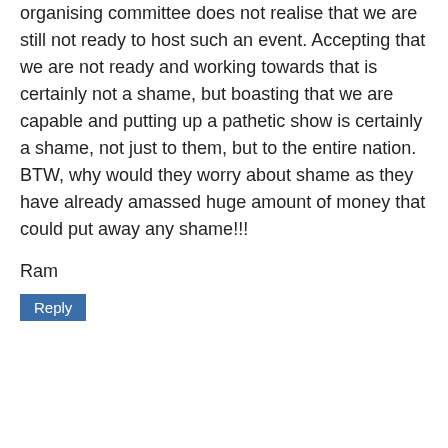organising committee does not realise that we are still not ready to host such an event. Accepting that we are not ready and working towards that is certainly not a shame, but boasting that we are capable and putting up a pathetic show is certainly a shame, not just to them, but to the entire nation. BTW, why would they worry about shame as they have already amassed huge amount of money that could put away any shame!!!
Ram
Reply